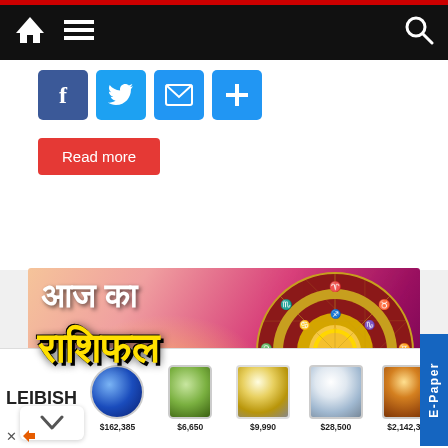[Figure (screenshot): Mobile website navigation bar with home icon, hamburger menu icon on dark/black background, and search icon on right]
[Figure (screenshot): Social share buttons: Facebook (blue), Twitter (blue bird), Email (blue envelope), More/share (blue plus)]
Read more
[Figure (illustration): Aaj Ka Rashifal (Today's Horoscope) banner in Hindi with zodiac wheel on pink/magenta gradient background. Text reads आज का राशिफल]
[Figure (advertisement): Leibish gemstone advertisement showing sapphire, green gemstone, yellow diamond ring, diamond ring, and amber stone with prices: $162,385, $6,650, $9,990, $28,500, $2,142,388]